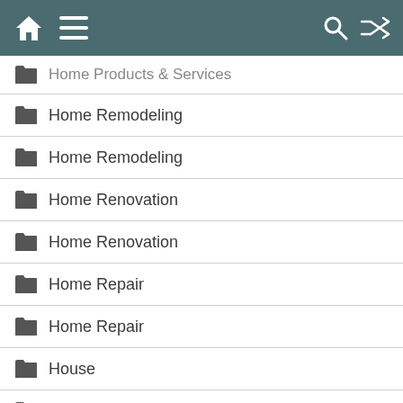Home Products & Services [navigation bar with home, menu, search, shuffle icons]
Home Products & Services
Home Remodeling
Home Remodeling
Home Renovation
Home Renovation
Home Repair
Home Repair
House
House Improvements
Internet Services
Kitchen Remodel
Kitchen Renovation